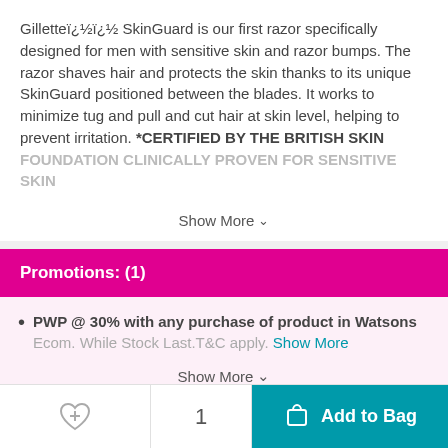Gilletteï¿½ï¿½ SkinGuard is our first razor specifically designed for men with sensitive skin and razor bumps. The razor shaves hair and protects the skin thanks to its unique SkinGuard positioned between the blades. It works to minimize tug and pull and cut hair at skin level, helping to prevent irritation. *CERTIFIED BY THE BRITISH SKIN FOUNDATION CLINICALLY PROVEN FOR SENSITIVE SKIN
Show More
Promotions: (1)
PWP @ 30% with any purchase of product in Watsons Ecom. While Stock Last.T&C apply. Show More
Show More
Payment & Refunds
1
Add to Bag